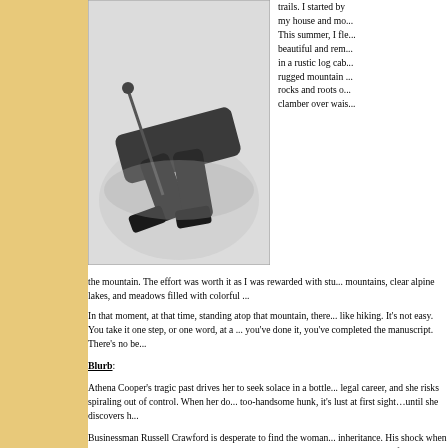[Figure (photo): Black and white photo of a person lying or fallen in snow, holding a hiking pole, seen from above]
trails. I started by my house and mo... This summer, I fle... beautiful and rem... in a rustic log cab... rugged mountain ... rocks and roots o... clamber over wais... the mountain. The effort was worth it as I was rewarded with stu... mountains, clear alpine lakes, and meadows filled with colorful ...
In that moment, at that time, standing atop that mountain, there... like hiking. It's not easy. You take it one step, or one word, at a ... you've done it, you've completed the manuscript. There's no be...
Blurb:
Athena Cooper's tragic past drives her to seek solace in a bottle... legal career, and she risks spiraling out of control. When her do... too-handsome hunk, it's lust at first sight…until she discovers h...
Businessman Russell Crawford is desperate to find the woman... inheritance. His shock when she turns out to be the gorgeous re... with is only surpassed when she claims his father was a murde...
Athena and Russ declare a truce and join forces to investigate...